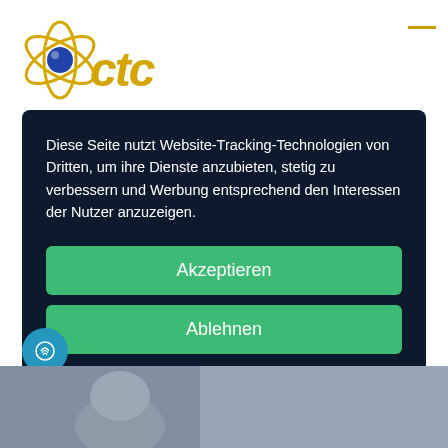[Figure (logo): CTC logo with orbital atom graphic and yellow/gold stylized letters]
Diese Seite nutzt Website-Tracking-Technologien von Dritten, um ihre Dienste anzubieten, stetig zu verbessern und Werbung entsprechend den Interessen der Nutzer anzuzeigen.
Akzeptieren
Ablehnen
mehr
Powered by  usercentrics  &  eRecht24
[Figure (photo): Blurred background photo of a person, visible at bottom of page]